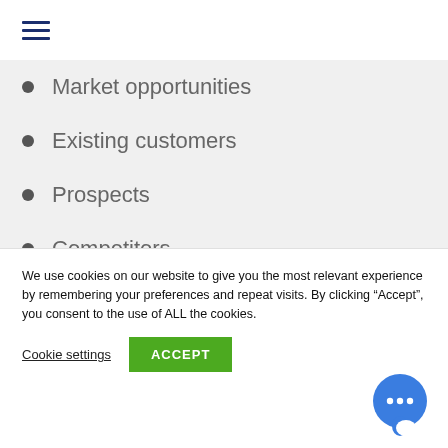[Figure (other): Hamburger menu icon with three horizontal dark blue lines]
Market opportunities
Existing customers
Prospects
Competitors
Employees
Industry trends
Environmental or regulatory risks
We use cookies on our website to give you the most relevant experience by remembering your preferences and repeat visits. By clicking “Accept”, you consent to the use of ALL the cookies.
Cookie settings   ACCEPT